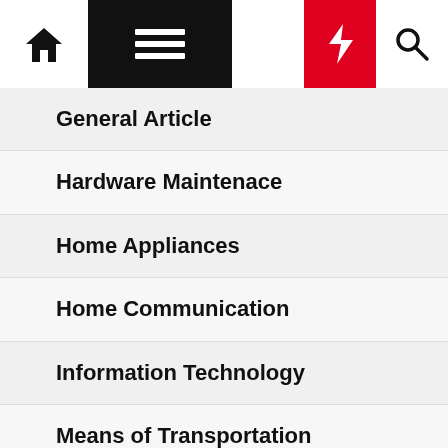Navigation menu with home, hamburger, moon, bolt, and search icons
General Article
Hardware Maintenace
Home Appliances
Home Communication
Information Technology
Means of Transportation
MULTIMEDIA AND PHOTOGRAPHY
SERVICE AND SUPPORT
Smart Phone